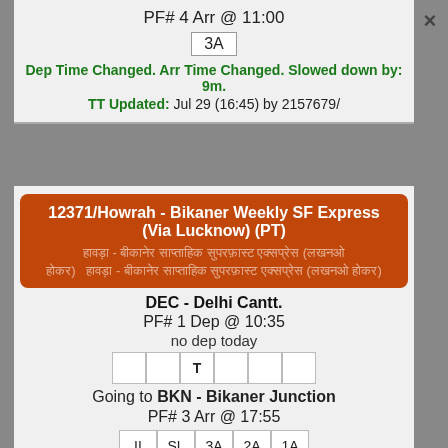PF# 4 Arr @ 11:00
3A
Dep Time Changed. Arr Time Changed. Slowed down by: 9m.
TT Updated: Jul 29 (16:45) by 2157679/
12371/Howrah - Bikaner Weekly SF Express (Via Lucknow) (PT)
DEC - Delhi Cantt.
PF# 1 Dep @ 10:35
no dep today
T
Going to BKN - Bikaner Junction
PF# 3 Arr @ 17:55
II SL 3A 2A 1A